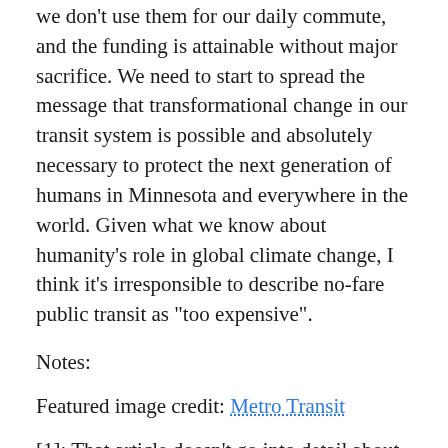we don't use them for our daily commute, and the funding is attainable without major sacrifice. We need to start to spread the message that transformational change in our transit system is possible and absolutely necessary to protect the next generation of humans in Minnesota and everywhere in the world. Given what we know about humanity's role in global climate change, I think it's irresponsible to describe no-fare public transit as “too expensive”.
Notes:
Featured image credit: Metro Transit
[1]: That article doesn’t go into detail about how they got the $30 million figure, but it seems in line with Department of Energy data that Minnesota was about 2.7 billion gallons (↑) of gasoline annually